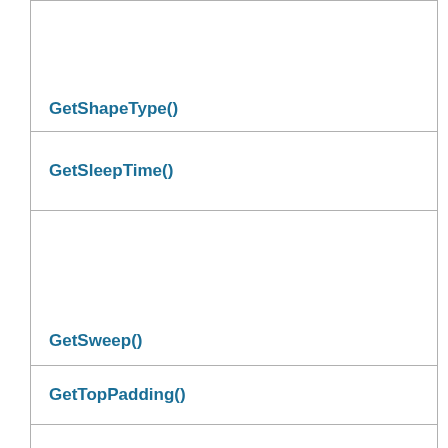GetShapeType()
GetSleepTime()
GetSweep()
GetTopPadding()
GetTorque()
GetTouchListeners()